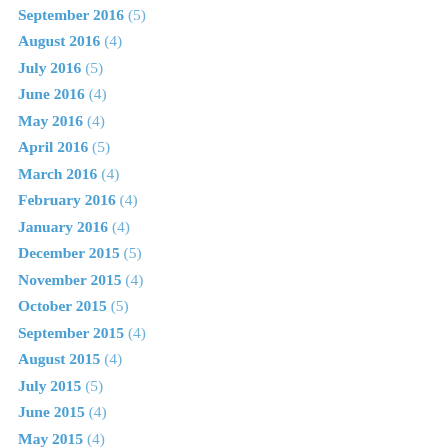September 2016 (5)
August 2016 (4)
July 2016 (5)
June 2016 (4)
May 2016 (4)
April 2016 (5)
March 2016 (4)
February 2016 (4)
January 2016 (4)
December 2015 (5)
November 2015 (4)
October 2015 (5)
September 2015 (4)
August 2015 (4)
July 2015 (5)
June 2015 (4)
May 2015 (4)
April 2015 (5)
March 2015 (4)
February 2015 (4)